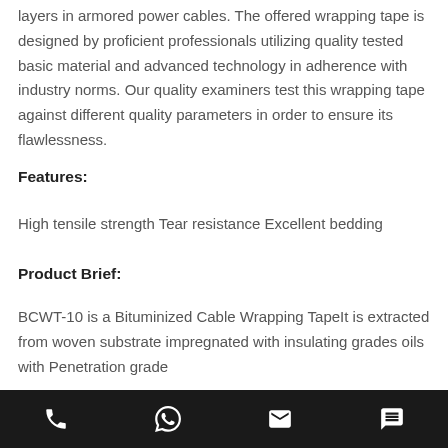layers in armored power cables. The offered wrapping tape is designed by proficient professionals utilizing quality tested basic material and advanced technology in adherence with industry norms. Our quality examiners test this wrapping tape against different quality parameters in order to ensure its flawlessness.
Features:
High tensile strength Tear resistance Excellent bedding
Product Brief:
BCWT-10 is a Bituminized Cable Wrapping TapeIt is extracted from woven substrate impregnated with insulating grades oils with Penetration grade
Phone | WhatsApp | Email | Chat